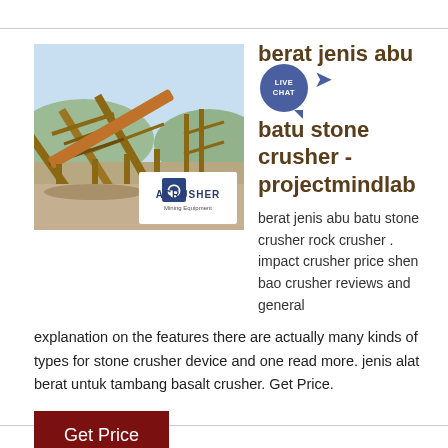[Figure (photo): Outdoor photo of a stone crusher / mining equipment facility with large metal conveyor structures and industrial machinery. An ACRUSHER Mining Equipment logo overlay appears in the lower right of the image.]
berat jenis abu batu stone crusher - projectmindlab
berat jenis abu batu stone crusher rock crusher . impact crusher price shen bao crusher reviews and general explanation on the features there are actually many kinds of types for stone crusher device and one read more. jenis alat berat untuk tambang basalt crusher. Get Price.
Get Price